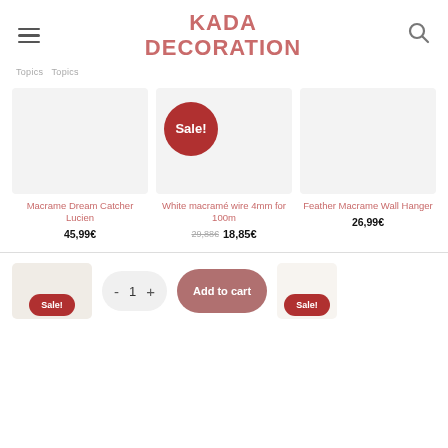KADA DECORATION
Topics  Topics
[Figure (photo): Empty product image placeholder for Macrame Dream Catcher Lucien]
Macrame Dream Catcher Lucien
45,99€
[Figure (photo): Product image placeholder for White macramé wire 4mm for 100m with Sale! badge]
White macramé wire 4mm for 100m
29,88€  18,85€
[Figure (photo): Empty product image placeholder for Feather Macrame Wall Hanger]
Feather Macrame Wall Hanger
26,99€
[Figure (screenshot): Bottom bar with product thumbnail, Sale! badge, quantity selector (- 1 +), Add to cart button, and another Sale! badge thumbnail]